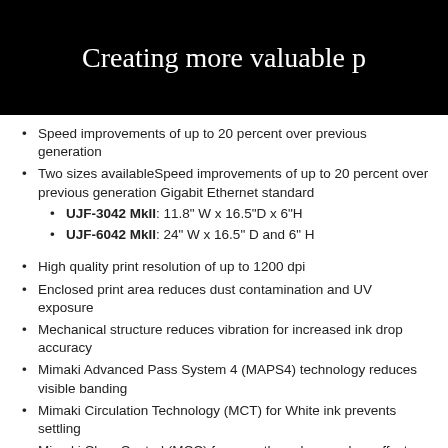[Figure (photo): Dark/black banner header with white serif text reading 'Creating more valuable p' (text cut off at right edge)]
Speed improvements of up to 20 percent over previous generation
Two sizes availableSpeed improvements of up to 20 percent over previous generation Gigabit Ethernet standard
UJF-3042 MkII: 11.8" W x 16.5"D x 6"H
UJF-6042 MkII: 24" W x 16.5" D and 6" H
High quality print resolution of up to 1200 dpi
Enclosed print area reduces dust contamination and UV exposure
Mechanical structure reduces vibration for increased ink drop accuracy
Mimaki Advanced Pass System 4 (MAPS4) technology reduces visible banding
Mimaki Circulation Technology (MCT) for White ink prevents settling
Mimaki Clear Control (MCC) for smoother, cleaner clear effects
Improved gap check laser sensor for more accurate media detection